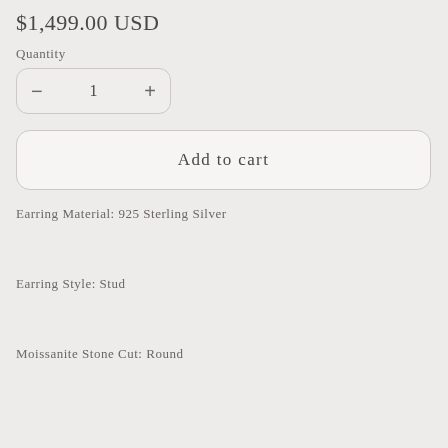$1,499.00 USD
Quantity
- 1 +
Add to cart
Earring Material: 925 Sterling Silver
Earring Style: Stud
Moissanite Stone Cut: Round